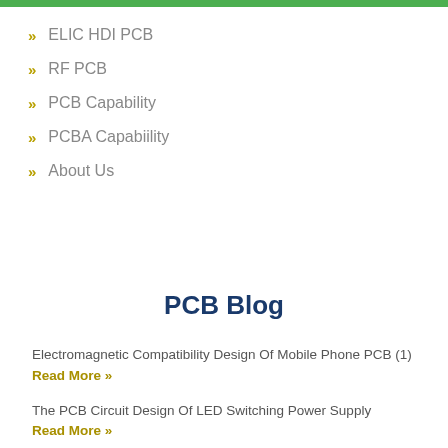ELIC HDI PCB
RF PCB
PCB Capability
PCBA Capabiility
About Us
PCB Blog
Electromagnetic Compatibility Design Of Mobile Phone PCB (1)
Read More »
The PCB Circuit Design Of LED Switching Power Supply
Read More »
Electromagnetic Compatibility Design Of Mobile Phone